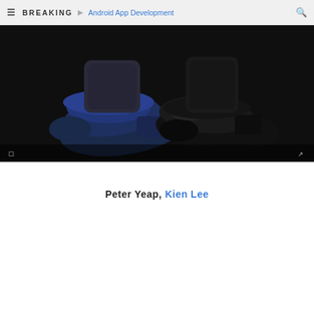BREAKING ▷ Android App Development
[Figure (photo): Close-up photo of two pairs of shoes/feet from above against a dark/black floor. Left pair appears to be navy blue slip-on shoes, right pair appears to be black dress shoes.]
Peter Yeap, Kien Lee